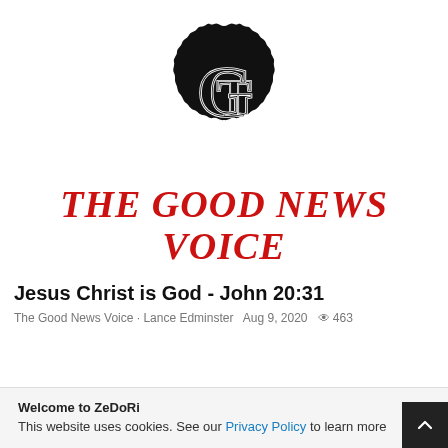[Figure (logo): Black scalloped/rosette seal badge with interlocked G and T letters in white outline on black background — logo for The Good News Voice]
THE GOOD NEWS VOICE
Jesus Christ is God - John 20:31
The Good News Voice · Lance Edminster   Aug 9, 2020  👁 463
Welcome to ZeDoRi
This website uses cookies. See our Privacy Policy to learn more